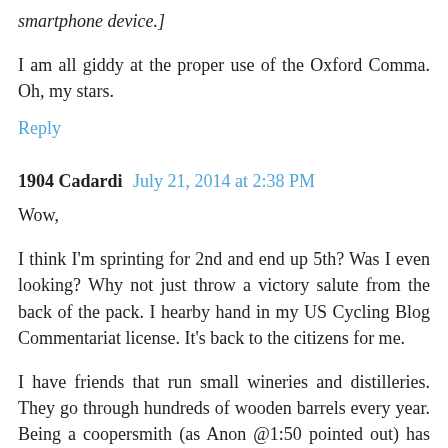smartphone device.]
I am all giddy at the proper use of the Oxford Comma. Oh, my stars.
Reply
1904 Cadardi  July 21, 2014 at 2:38 PM
Wow,
I think I'm sprinting for 2nd and end up 5th? Was I even looking? Why not just throw a victory salute from the back of the pack. I hearby hand in my US Cycling Blog Commentariat license. It's back to the citizens for me.
I have friends that run small wineries and distilleries. They go through hundreds of wooden barrels every year. Being a coopersmith (as Anon @1:50 pointed out) has much better career prospects than bicycle messengery. But unlike like messengering it requires skill, effort and the use of power tools capable of easily severing fingers and is therefor incompatible with proximate hops, which conclude...